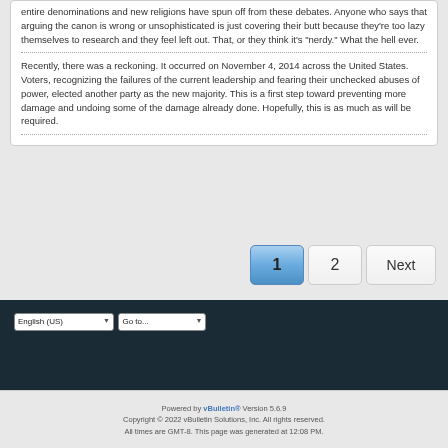entire denominations and new religions have spun off from these debates. Anyone who says that arguing the canon is wrong or unsophisticated is just covering their butt because they're too lazy themselves to research and they feel left out. That, or they think it's "nerdy." What the hell ever.
Recently, there was a reckoning. It occurred on November 4, 2014 across the United States. Voters, recognizing the failures of the current leadership and fearing their unchecked abuses of power, elected another party as the new majority. This is a first step toward preventing more damage and undoing some of the damage already done. Hopefully, this is as much as will be required.
1  2  Next
Powered by vBulletin® Version 5.6.9
Copyright © 2022 vBulletin Solutions, Inc. All rights reserved.
All times are GMT-8. This page was generated at 12:08 PM.